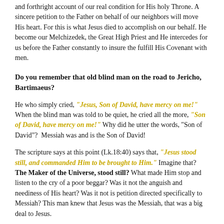and forthright account of our real condition for His holy Throne. A sincere petition to the Father on behalf of our neighbors will move His heart. For this is what Jesus died to accomplish on our behalf. He become our Melchizedek, the Great High Priest and He intercedes for us before the Father constantly to insure the fulfill His Covenant with men.
Do you remember that old blind man on the road to Jericho, Bartimaeus?
He who simply cried, "Jesus, Son of David, have mercy on me!" When the blind man was told to be quiet, he cried all the more, "Son of David, have mercy on me!" Why did he utter the words, "Son of David"? Messiah was and is the Son of David!
The scripture says at this point (Lk.18:40) says that, "Jesus stood still, and commanded Him to be brought to Him." Imagine that? The Maker of the Universe, stood still? What made Him stop and listen to the cry of a poor beggar? Was it not the anguish and neediness of His heart? Was it not is petition directed specifically to Messiah? This man knew that Jesus was the Messiah, that was a big deal to Jesus.
Jesus then, as Messiah, goes on to ask a very direct question of the blind man named Bartimaeus. Jesus asked this very probing question, "What do you want Me to do for you?" The blind man smartly gets right to the point and says, "Lord, that I might receive my sight!"
The scripture goes on to reveal that the man immediately received His sight! What more did that blind beggar need? With working eyes he